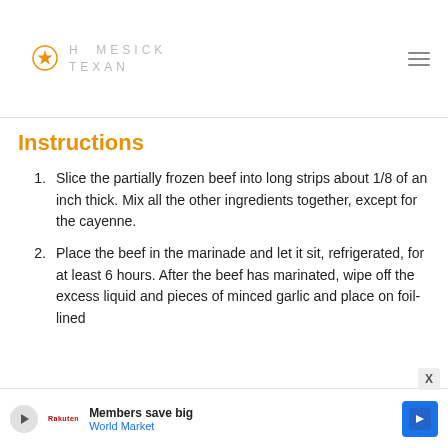HOMESICK TEXAN
Instructions
Slice the partially frozen beef into long strips about 1/8 of an inch thick. Mix all the other ingredients together, except for the cayenne.
Place the beef in the marinade and let it sit, refrigerated, for at least 6 hours. After the beef has marinated, wipe off the excess liquid and pieces of minced garlic and place on foil-lined
Members save big World Market